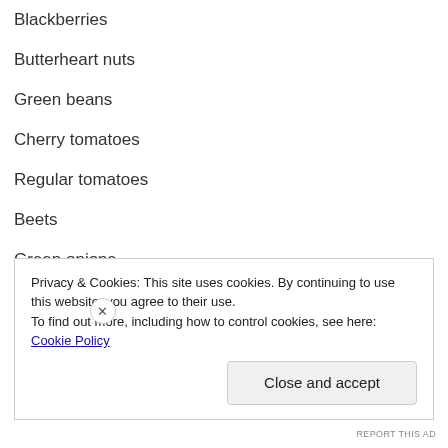Blackberries
Butterheart nuts
Green beans
Cherry tomatoes
Regular tomatoes
Beets
Green onions
Privacy & Cookies: This site uses cookies. By continuing to use this website, you agree to their use.
To find out more, including how to control cookies, see here: Cookie Policy
REPORT THIS AD